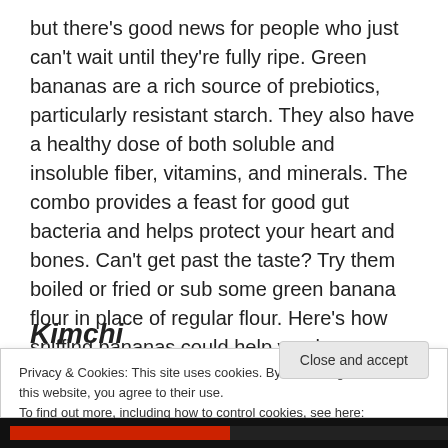but there's good news for people who just can't wait until they're fully ripe. Green bananas are a rich source of prebiotics, particularly resistant starch. They also have a healthy dose of both soluble and insoluble fiber, vitamins, and minerals. The combo provides a feast for good gut bacteria and helps protect your heart and bones. Can't get past the taste? Try them boiled or fried or sub some green banana flour in place of regular flour. Here's how sniffing bananas could help you lose weight.
Kimchi
Privacy & Cookies: This site uses cookies. By continuing to use this website, you agree to their use.
To find out more, including how to control cookies, see here: Cookie Policy